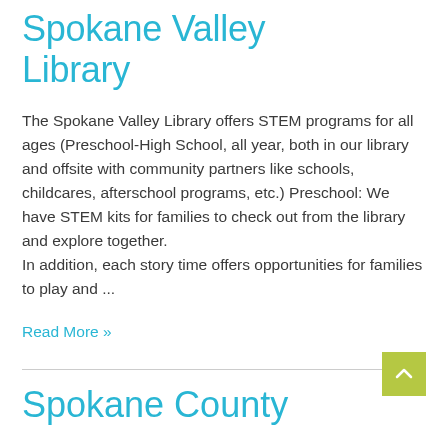Spokane Valley Library
The Spokane Valley Library offers STEM programs for all ages (Preschool-High School, all year, both in our library and offsite with community partners like schools, childcares, afterschool programs, etc.) Preschool: We have STEM kits for families to check out from the library and explore together.
In addition, each story time offers opportunities for families to play and ...
Read More »
Spokane County